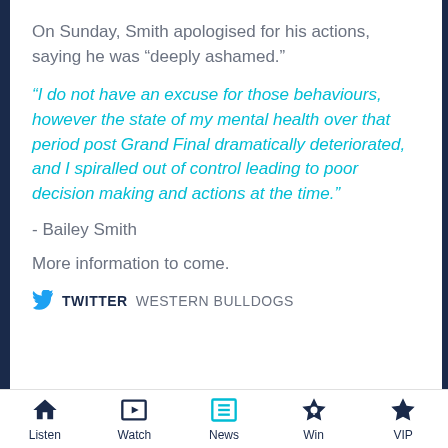On Sunday, Smith apologised for his actions, saying he was “deeply ashamed.”
“I do not have an excuse for those behaviours, however the state of my mental health over that period post Grand Final dramatically deteriorated, and I spiralled out of control leading to poor decision making and actions at the time.”
- Bailey Smith
More information to come.
TWITTER  WESTERN BULLDOGS
Listen  Watch  News  Win  VIP